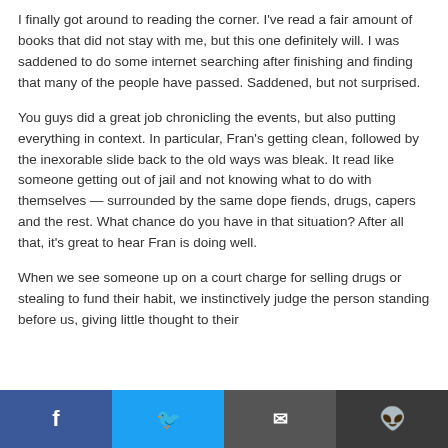I finally got around to reading the corner. I've read a fair amount of books that did not stay with me, but this one definitely will. I was saddened to do some internet searching after finishing and finding that many of the people have passed. Saddened, but not surprised.
You guys did a great job chronicling the events, but also putting everything in context. In particular, Fran's getting clean, followed by the inexorable slide back to the old ways was bleak. It read like someone getting out of jail and not knowing what to do with themselves — surrounded by the same dope fiends, drugs, capers and the rest. What chance do you have in that situation? After all that, it's great to hear Fran is doing well.
When we see someone up on a court charge for selling drugs or stealing to fund their habit, we instinctively judge the person standing before us, giving little thought to their circumstances. They are a product of their environment, that'll
Facebook | Twitter | Email | Reddit